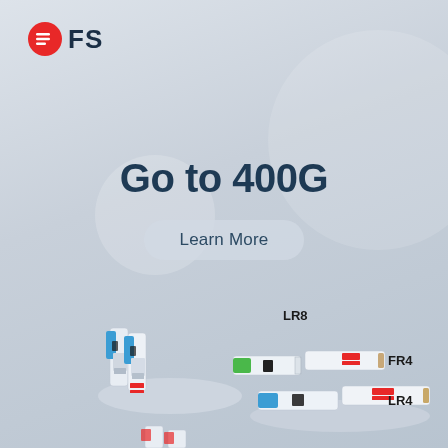[Figure (logo): FS company logo: red circle icon with white horizontal lines, followed by bold text 'FS']
Go to 400G
Learn More
[Figure (photo): Product photo showing multiple 400G optical transceiver modules (QSFP-DD form factor) displayed on white cylindrical pedestals. Modules labeled LR8, FR4, and LR4 with various colored pull tabs (blue, green, tan/beige). Modules shown at different angles with visible label stickers and connector ends.]